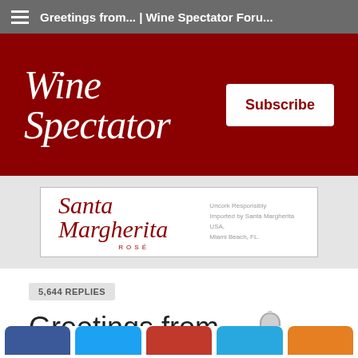Greetings from... | Wine Spectator Foru...
[Figure (logo): Wine Spectator logo in white italic serif font on dark red background with Subscribe button]
[Figure (illustration): Santa Margherita Rosé advertisement banner with brand name in red script, ROSÉ subtitle, and 'Uncork Responsibly / Imported by Santa Margherita USA, Miami Beach, FL.' text on white background]
5,644 REPLIES
Greetings from...
Page: 1 … 5 6 7 8 9 10 11 … 142